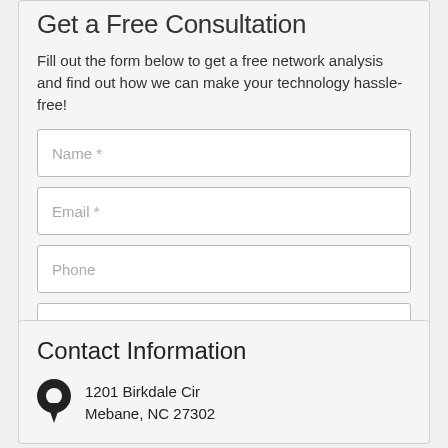Get a Free Consultation
Fill out the form below to get a free network analysis and find out how we can make your technology hassle-free!
Name *
Email *
Phone
Company
REQUEST ANALYSIS
Contact Information
1201 Birkdale Cir
Mebane, NC 27302